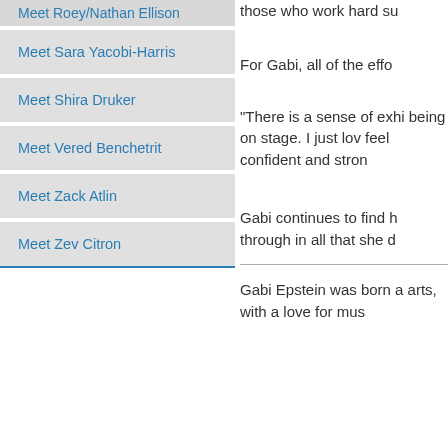Meet Roey/Nathan Ellison
Meet Sara Yacobi-Harris
Meet Shira Druker
Meet Vered Benchetrit
Meet Zack Atlin
Meet Zev Citron
those who work hard su
For Gabi, all of the effo
“There is a sense of exhi being on stage. I just lov feel confident and stron
Gabi continues to find h through in all that she d
Gabi Epstein was born a arts, with a love for mus